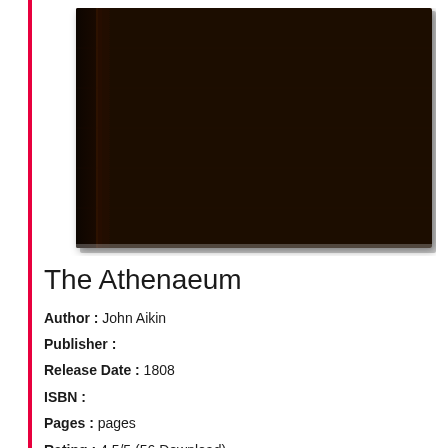[Figure (photo): Dark brown hardcover book photographed against a white background, showing the spine and front cover with a very dark brown textile texture.]
The Athenaeum
Author : John Aikin
Publisher :
Release Date : 1808
ISBN :
Pages : pages
Rating : 4.5/5 (56 Download)